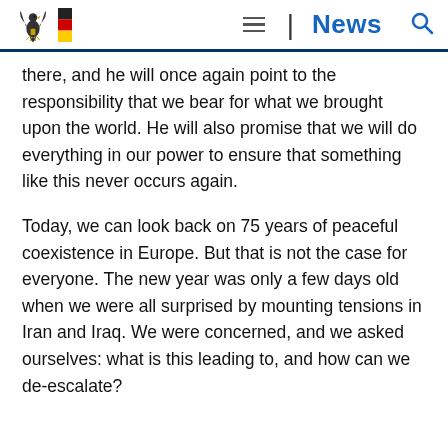News
there, and he will once again point to the responsibility that we bear for what we brought upon the world. He will also promise that we will do everything in our power to ensure that something like this never occurs again.
Today, we can look back on 75 years of peaceful coexistence in Europe. But that is not the case for everyone. The new year was only a few days old when we were all surprised by mounting tensions in Iran and Iraq. We were concerned, and we asked ourselves: what is this leading to, and how can we de-escalate?